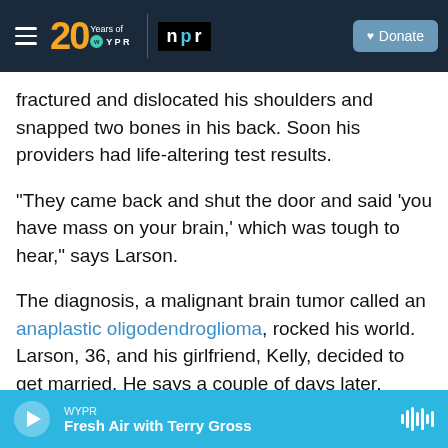20 Years of WYPR | npr | Donate
fractured and dislocated his shoulders and snapped two bones in his back. Soon his providers had life-altering test results.
"They came back and shut the door and said 'you have mass on your brain,' which was tough to hear," says Larson.
The diagnosis, a malignant brain tumor called an anaplastic oligodendroglioma, rocked his world. Larson, 36, and his girlfriend, Kelly, decided to get married. He says a couple of days later, surgeons cracked open his skull and scooped out part of his
WYPR — Fresh Air with Terry Gross